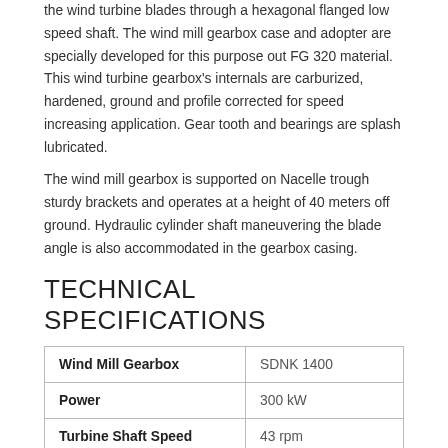the wind turbine blades through a hexagonal flanged low speed shaft. The wind mill gearbox case and adopter are specially developed for this purpose out FG 320 material. This wind turbine gearbox's internals are carburized, hardened, ground and profile corrected for speed increasing application. Gear tooth and bearings are splash lubricated.
The wind mill gearbox is supported on Nacelle trough sturdy brackets and operates at a height of 40 meters off ground. Hydraulic cylinder shaft maneuvering the blade angle is also accommodated in the gearbox casing.
TECHNICAL SPECIFICATIONS
| Wind Mill Gearbox | SDNK 1400 |
| Power | 300 kW |
| Turbine Shaft Speed | 43 rpm |
| Generator Shaft Speed | 1512 rpm |